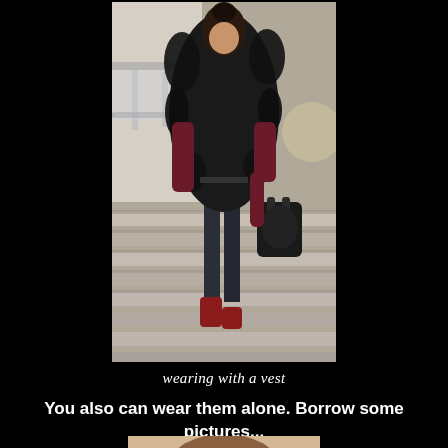[Figure (photo): A woman wearing a black fur vest over a dark red/burgundy top, dark jeans, and red boots, carrying a large black handbag, walking down stairs with glass railings.]
wearing with a vest
You also can wear them alone. Borrow some pictures...
[Figure (photo): Partial photo of a person, only the top of the head visible at the bottom of the page.]